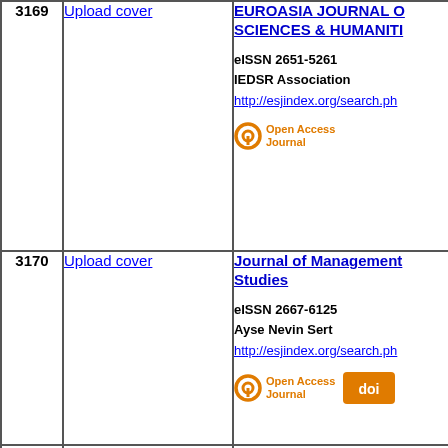| # | Cover | Info |
| --- | --- | --- |
| 3169 | Upload cover | EUROASIA JOURNAL OF SCIENCES & HUMANITIES
eISSN 2651-5261
IEDSR Association
http://esjindex.org/search.ph
[Open Access Journal] |
| 3170 | Upload cover | Journal of Management Studies
eISSN 2667-6125
Ayse Nevin Sert
http://esjindex.org/search.ph
[Open Access Journal][DOI] |